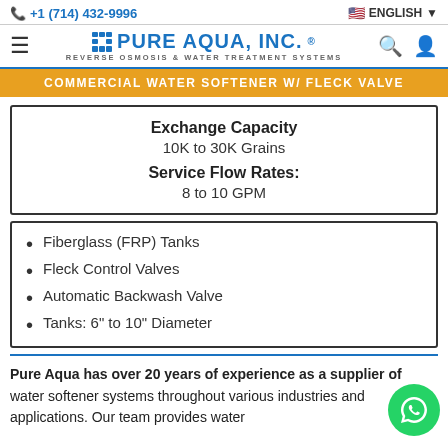+1 (714) 432-9996 | ENGLISH
[Figure (logo): Pure Aqua, Inc. logo with grid icon, text 'PURE AQUA, INC.' and subtitle 'REVERSE OSMOSIS & WATER TREATMENT SYSTEMS']
COMMERCIAL WATER SOFTENER W/ FLECK VALVE
| Exchange Capacity | 10K to 30K Grains |
| Service Flow Rates: | 8 to 10 GPM |
Fiberglass (FRP) Tanks
Fleck Control Valves
Automatic Backwash Valve
Tanks: 6" to 10" Diameter
Pure Aqua has over 20 years of experience as a supplier of water softener systems throughout various industries and applications. Our team provides water